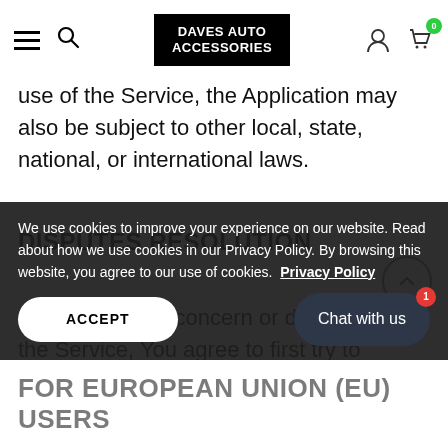DAVES AUTO ACCESSORIES
use of the Service, the Application may also be subject to other local, state, national, or international laws.
DISPUTES RESOLUTION
If You have any concern or dispute about the Service, You agree to first try to resolve the dispute informally by contacting the Company
We use cookies to improve your experience on our website. Read about how we use cookies in our Privacy Policy. By browsing this website, you agree to our use of cookies.  Privacy Policy
FOR EUROPEAN UNION (EU) USERS